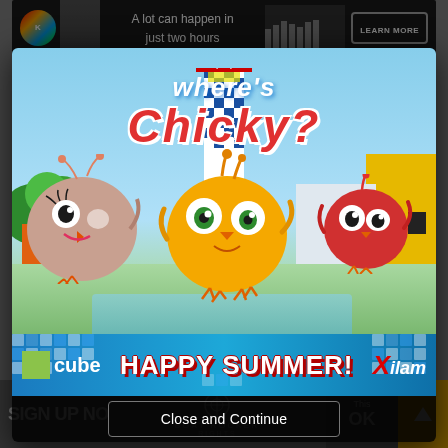[Figure (screenshot): Screenshot of a webpage with a modal advertisement popup for 'Where's Chicky?' animated show. The modal shows cartoon bird characters against a colorful illustrated background. A 'HAPPY SUMMER!' banner appears at the bottom of the modal image with 'cube' and 'Xilam' logos. Below the modal is a 'Close and Continue' button. The background shows a partially visible webpage with a top banner ad reading 'A lot can happen in just two hours' and bottom content showing 'SIGN UP NO...' and 'BOAT ROCKER' branding.]